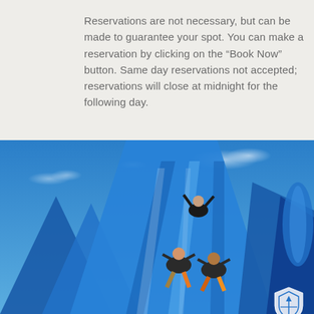Reservations are not necessary, but can be made to guarantee your spot.  You can make a reservation by clicking on the “Book Now” button.  Same day reservations not accepted; reservations will close at midnight for the following day.
[Figure (photo): Photo of people sliding down a large blue inflatable water slide against a bright blue sky. Three people are visible on the slide, two at the bottom and one near the top with arms raised. A shield logo is visible in the bottom right corner.]